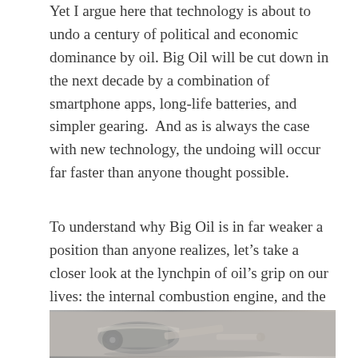Yet I argue here that technology is about to undo a century of political and economic dominance by oil. Big Oil will be cut down in the next decade by a combination of smartphone apps, long-life batteries, and simpler gearing.  And as is always the case with new technology, the undoing will occur far faster than anyone thought possible.
To understand why Big Oil is in far weaker a position than anyone realizes, let’s take a closer look at the lynchpin of oil’s grip on our lives: the internal combustion engine, and the modern vehicle drivetrain.
[Figure (photo): Close-up photograph of an internal combustion engine or vehicle drivetrain component, shown in gray tones against a gray background.]